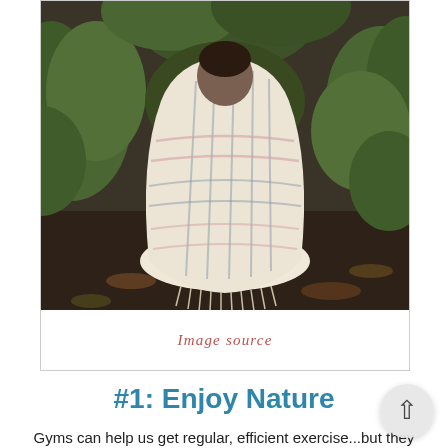[Figure (photo): A person sitting cross-legged outdoors in a forest setting, wrapped in a white and pink plaid blanket/shawl, surrounded by green leaves and dark earthy ground.]
Image source
#1: Enjoy Nature
Gyms can help us get regular, efficient exercise...but they do nothing to salve our souls. The further we remove ourselves from nature, the more isolated feel. Taking daily walks with your dog can help you